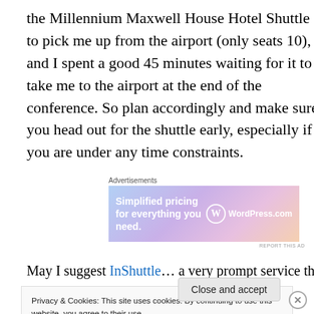the Millennium Maxwell House Hotel Shuttle to pick me up from the airport (only seats 10), and I spent a good 45 minutes waiting for it to take me to the airport at the end of the conference. So plan accordingly and make sure you head out for the shuttle early, especially if you are under any time constraints.
[Figure (other): WordPress.com advertisement banner: 'Simplified pricing for everything you need.' with WordPress.com logo on gradient background]
May I suggest InShuttle… a very prompt service that will
Privacy & Cookies: This site uses cookies. By continuing to use this website, you agree to their use.
To find out more, including how to control cookies, see here: Cookie Policy